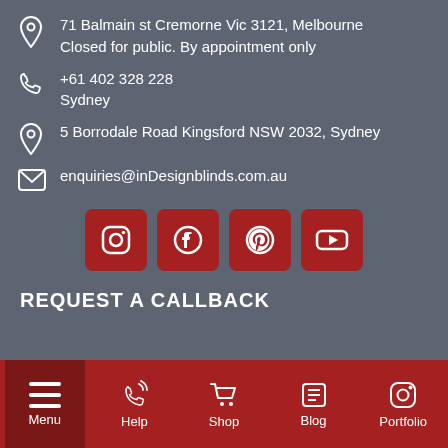71 Balmain st Cremorne Vic 3121, Melbourne
Closed for public. By appointment only
+61 402 328 228
Sydney
5 Borrodale Road Kingsford NSW 2032, Sydney
enquiries@inDesignblinds.com.au
[Figure (infographic): Four social media icon buttons (Instagram, Facebook, Pinterest, YouTube) in dark red square rounded buttons]
REQUEST A CALLBACK
Menu | Help | Shop | Blog | Portfolio